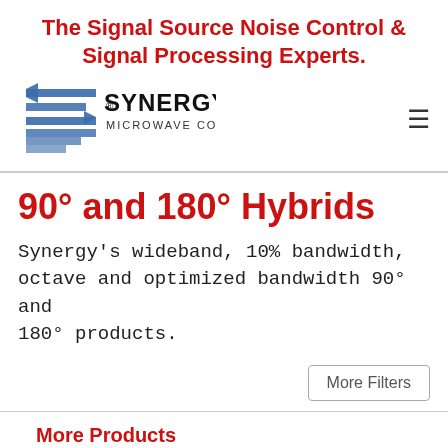The Signal Source Noise Control & Signal Processing Experts.
[Figure (logo): Synergy Microwave Corporation logo with stylized blue S-shape and bold SYNERGY® MICROWAVE CORPORATION text]
90° and 180° Hybrids
Synergy's wideband, 10% bandwidth, octave and optimized bandwidth 90° and 180° products.
More Filters
More Products
High Power Products
Couplers
Filters